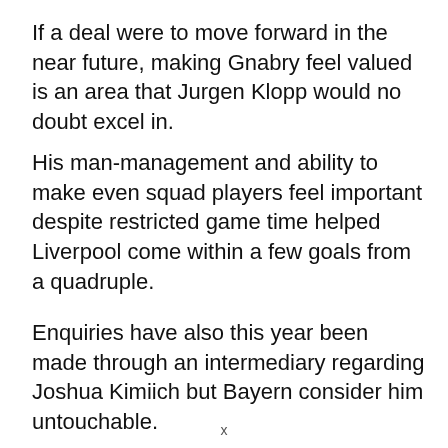If a deal were to move forward in the near future, making Gnabry feel valued is an area that Jurgen Klopp would no doubt excel in.
His man-management and ability to make even squad players feel important despite restricted game time helped Liverpool come within a few goals from a quadruple.
Enquiries have also this year been made through an intermediary regarding Joshua Kimiich but Bayern consider him untouchable.
x